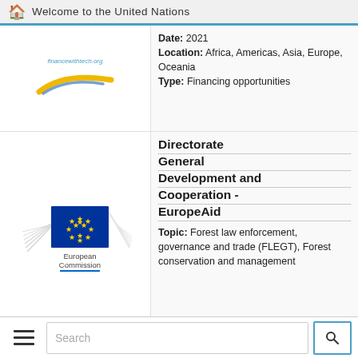Welcome to the United Nations
[Figure (logo): Logo with yellow swoosh and blue arc, partially visible at top]
Date: 2021
Location: Africa, Americas, Asia, Europe, Oceania
Type: Financing opportunities
[Figure (logo): European Commission logo: blue rectangle with gold circle of stars and grey wing graphic on right. Text: European Commission with blue underline.]
Directorate General Development and Cooperation - EuropeAid
Topic: Forest law enforcement, governance and trade (FLEGT), Forest conservation and management
Date: 2021
Location: Africa, Americas, Asia, Europe, Oceania